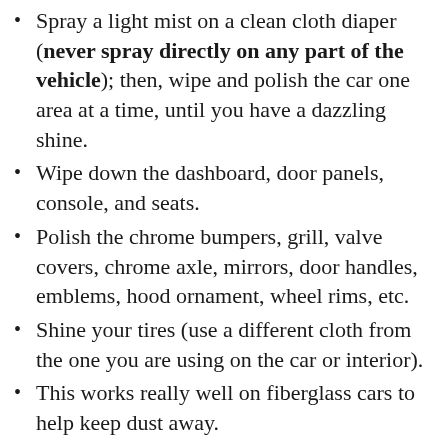Spray a light mist on a clean cloth diaper (never spray directly on any part of the vehicle); then, wipe and polish the car one area at a time, until you have a dazzling shine.
Wipe down the dashboard, door panels, console, and seats.
Polish the chrome bumpers, grill, valve covers, chrome axle, mirrors, door handles, emblems, hood ornament, wheel rims, etc.
Shine your tires (use a different cloth from the one you are using on the car or interior).
This works really well on fiberglass cars to help keep dust away.